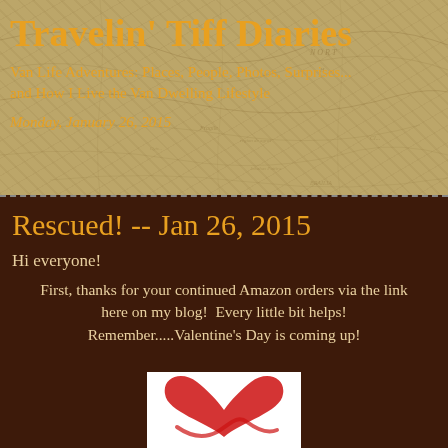Travelin' Tiff Diaries
Van Life Adventures: Places, People, Photos, Surprises... and How I Live the Van Dwelling Lifestyle
Monday, January 26, 2015
Rescued! -- Jan 26, 2015
Hi everyone!
First, thanks for your continued Amazon orders via the link here on my blog!  Every little bit helps!  Remember.....Valentine's Day is coming up!
[Figure (illustration): Red heart illustration, hand-drawn brush stroke style]